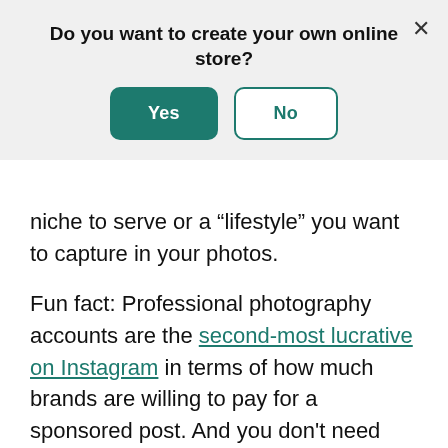[Figure (screenshot): Modal dialog overlay with question 'Do you want to create your own online store?' and two buttons: a green 'Yes' button and a white 'No' button with green border. An X close button appears in the top right.]
niche to serve or a “lifestyle” you want to capture in your photos.
Fun fact: Professional photography accounts are the second-most lucrative on Instagram in terms of how much brands are willing to pay for a sponsored post. And you don’t need hundreds of thousands of followers either.
Check out our guide on how to sell photos online for a more detailed look at how to monetize your photography.